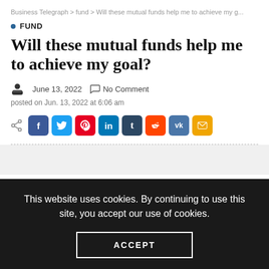Business Telegraph > fund > Will these mutual funds help me to achieve my g...
FUND
Will these mutual funds help me to achieve my goal?
June 13, 2022   No Comment
posted on Jun. 13, 2022 at 6:06 am
[Figure (infographic): Social media share buttons: Facebook, Twitter, Pinterest, LinkedIn, Tumblr, Reddit, VK, Email]
This website uses cookies. By continuing to use this site, you accept our use of cookies.
ACCEPT